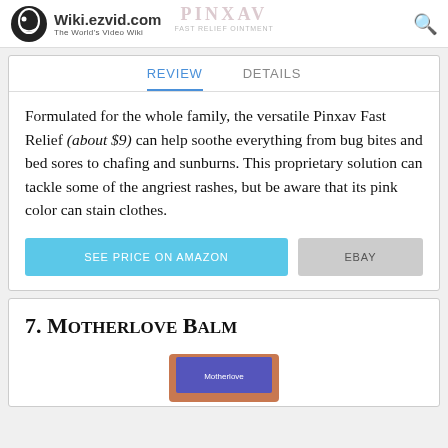Wiki.ezvid.com — The World's Video Wiki
Formulated for the whole family, the versatile Pinxav Fast Relief (about $9) can help soothe everything from bug bites and bed sores to chafing and sunburns. This proprietary solution can tackle some of the angriest rashes, but be aware that its pink color can stain clothes.
7. Motherlove Balm